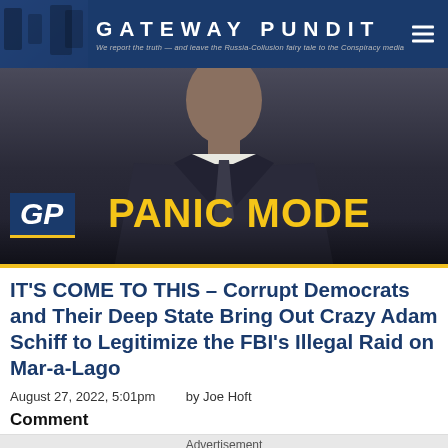GATEWAY PUNDIT — We report the truth — and leave the Russia-Collusion fairy tale to the Conspiracy media
[Figure (photo): Hero image with man in suit, GP logo box in lower left, 'PANIC MODE' yellow text overlay]
IT'S COME TO THIS – Corrupt Democrats and Their Deep State Bring Out Crazy Adam Schiff to Legitimize the FBI's Illegal Raid on Mar-a-Lago
August 27, 2022, 5:01pm    by Joe Hoft
Comment
Advertisement
Who Are These Wicked Twins Anyway?
Brainberries